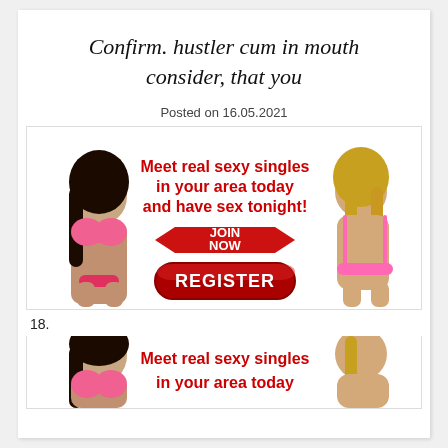Confirm. hustler cum in mouth consider, that you
Posted on 16.05.2021
[Figure (illustration): Adult dating advertisement banner with two women in bikinis, red bold text 'Meet real sexy singles in your area today and have sex tonight!', a red arrow-shaped JOIN NOW button, and a large red REGISTER button.]
18.
[Figure (illustration): Second adult dating advertisement banner (partial), same layout with two women and red text 'Meet real sexy singles'.]